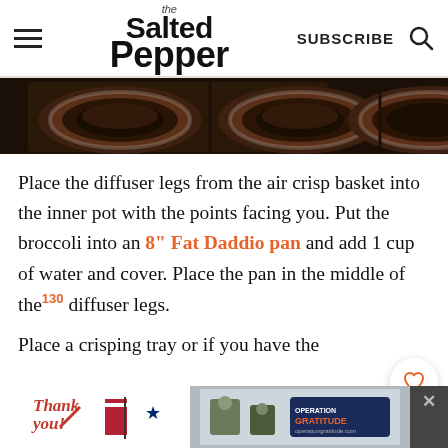the Salted Pepper | SUBSCRIBE
[Figure (photo): Three dark bowls of food photographed from above, partially cropped at top of page]
Place the diffuser legs from the air crisp basket into the inner pot with the points facing you. Put the broccoli into an 8" Fat Daddio pan and add 1 cup of water and cover. Place the pan in the middle of the diffuser legs.
Place a crisping tray or if you have the
[Figure (other): Advertisement banner at bottom: Thank You with military imagery and Operation Gratitude logo]